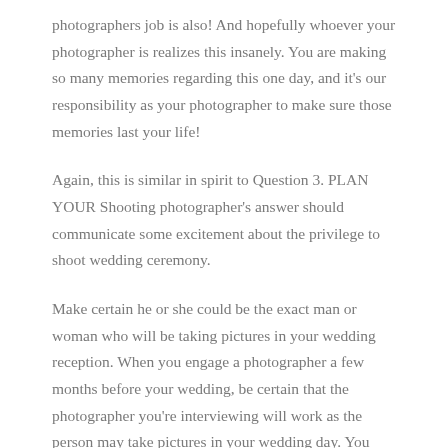photographers job is also! And hopefully whoever your photographer is realizes this insanely. You are making so many memories regarding this one day, and it's our responsibility as your photographer to make sure those memories last your life!
Again, this is similar in spirit to Question 3. PLAN YOUR Shooting photographer's answer should communicate some excitement about the privilege to shoot wedding ceremony.
Make certain he or she could be the exact man or woman who will be taking pictures in your wedding reception. When you engage a photographer a few months before your wedding, be certain that the photographer you're interviewing will work as the person may take pictures in your wedding day. You wouldn't want to spend money for totally.
Wedding photography is a great job, it's rewarding and artistic and worthwhile. But it's also incredibly hard, physically